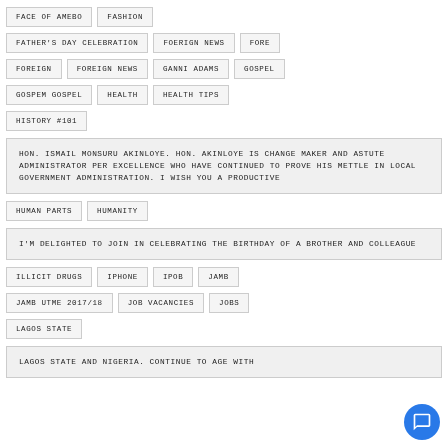FACE OF AMEBO
FASHION
FATHER'S DAY CELEBRATION
FOERIGN NEWS
FORE
FOREIGN
FOREIGN NEWS
GANNI ADAMS
GOSPEL
GOSPEM GOSPEL
HEALTH
HEALTH TIPS
HISTORY #101
HON. ISMAIL MONSURU AKINLOYE. HON. AKINLOYE IS CHANGE MAKER AND ASTUTE ADMINISTRATOR PER EXCELLENCE WHO HAVE CONTINUED TO PROVE HIS METTLE IN LOCAL GOVERNMENT ADMINISTRATION. I WISH YOU A PRODUCTIVE
HUMAN PARTS
HUMANITY
I'M DELIGHTED TO JOIN IN CELEBRATING THE BIRTHDAY OF A BROTHER AND COLLEAGUE
ILLICIT DRUGS
IPHONE
IPOB
JAMB
JAMB UTME 2017/18
JOB VACANCIES
JOBS
LAGOS STATE
LAGOS STATE AND NIGERIA. CONTINUE TO AGE WITH